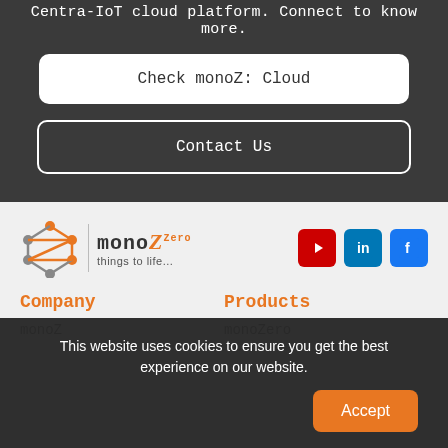Centra-IoT cloud platform. Connect to know more.
Check monoZ: Cloud
Contact Us
[Figure (logo): monoZ logo with orange geometric Z icon and tagline 'things to life...' with social media icons for YouTube, LinkedIn, and Facebook]
Company
Products
monoZ
monoZero
This website uses cookies to ensure you get the best experience on our website.
Accept